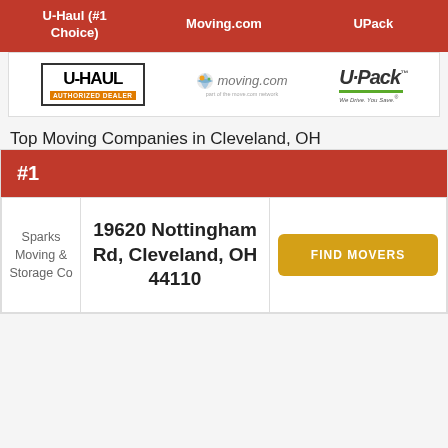| U-Haul (#1 Choice) | Moving.com | UPack |
| --- | --- | --- |
[Figure (logo): U-Haul Authorized Dealer logo, Moving.com logo, U-Pack We Drive. You Save. logo]
Top Moving Companies in Cleveland, OH
| #1 |  |  |
| --- | --- | --- |
| Sparks Moving & Storage Co | 19620 Nottingham Rd, Cleveland, OH 44110 | FIND MOVERS |